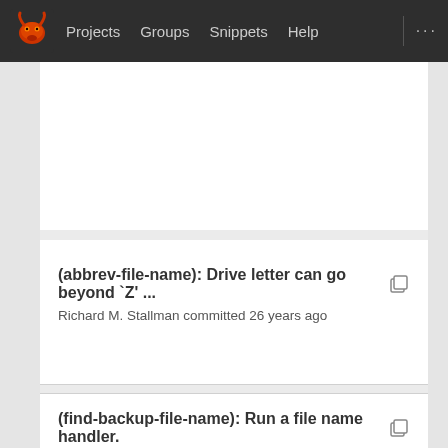Projects  Groups  Snippets  Help  ...
(abbrev-file-name): Drive letter can go beyond `Z' ...  Richard M. Stallman committed 26 years ago
(find-backup-file-name): Run a file name handler.  Richard M. Stallman committed 27 years ago